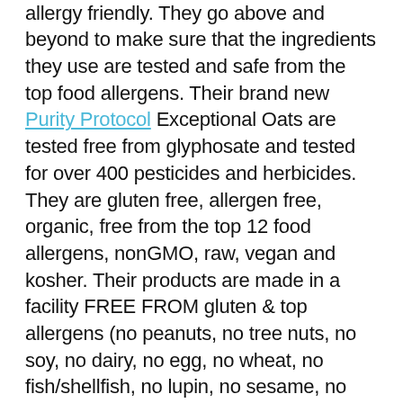because everything is Organic and allergy friendly. They go above and beyond to make sure that the ingredients they use are tested and safe from the top food allergens. Their brand new Purity Protocol Exceptional Oats are tested free from glyphosate and tested for over 400 pesticides and herbicides. They are gluten free, allergen free, organic, free from the top 12 food allergens, nonGMO, raw, vegan and kosher. Their products are made in a facility FREE FROM gluten & top allergens (no peanuts, no tree nuts, no soy, no dairy, no egg, no wheat, no fish/shellfish, no lupin, no sesame, no mustard, no sulfites). Zego's entire line is phenomenal! Their oats are tasty, and their new rebrand looks gorgeous! I am so excited about everything that Zego is